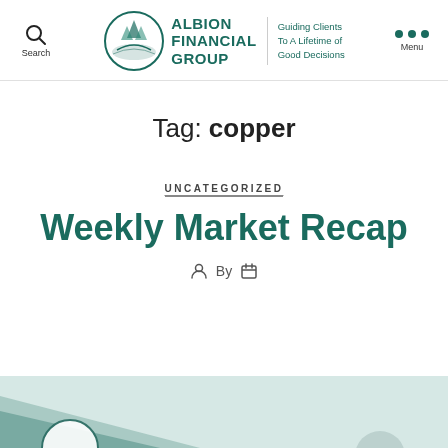Albion Financial Group — Guiding Clients To A Lifetime of Good Decisions
Tag: copper
UNCATEGORIZED
Weekly Market Recap
By
[Figure (screenshot): Bottom strip showing partial Albion Financial Group branded image background]